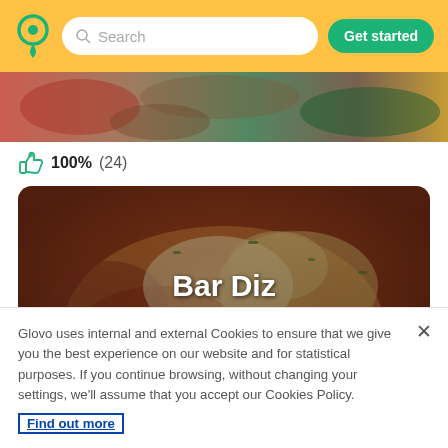Search | Get started
[Figure (photo): Food photo strip showing dishes from above]
100% (24)
[Figure (photo): Bar Diz restaurant card with food photo showing octopus dish. Overlay text: Bar Diz. Button: Schedule for 10:00 EAS]
Glovo uses internal and external Cookies to ensure that we give you the best experience on our website and for statistical purposes. If you continue browsing, without changing your settings, we'll assume that you accept our Cookies Policy. Find out more